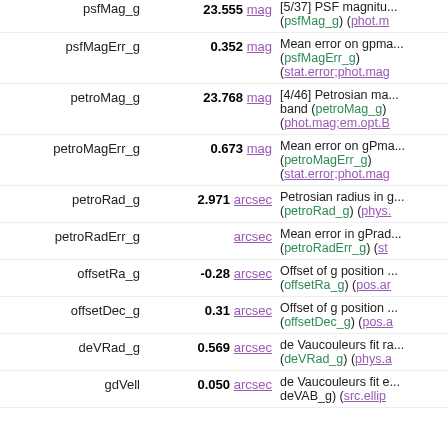| Name | Value | Description |
| --- | --- | --- |
| psfMag_g | 23.555 mag | [5/37] PSF magnitude (psfMag_g) (phot.m... |
| psfMagErr_g | 0.352 mag | Mean error on gpma... (psfMagErr_g) (stat.error;phot.mag) |
| petroMag_g | 23.768 mag | [4/46] Petrosian ma... band (petroMag_g) (phot.mag;em.opt.B) |
| petroMagErr_g | 0.673 mag | Mean error on gPma... (petroMagErr_g) (stat.error;phot.mag) |
| petroRad_g | 2.971 arcsec | Petrosian radius in g... (petroRad_g) (phys... |
| petroRadErr_g | arcsec | Mean error in gPrad... (petroRadErr_g) (st... |
| offsetRa_g | -0.28 arcsec | Offset of g position (offsetRa_g) (pos.ar... |
| offsetDec_g | 0.31 arcsec | Offset of g position (offsetDec_g) (pos.a... |
| deVRad_g | 0.569 arcsec | de Vaucouleurs fit ra... (deVRad_g) (phys.a... |
| gdVell | 0.050 arcsec | de Vaucouleurs fit e... deVAB_g) (src.ellip... |